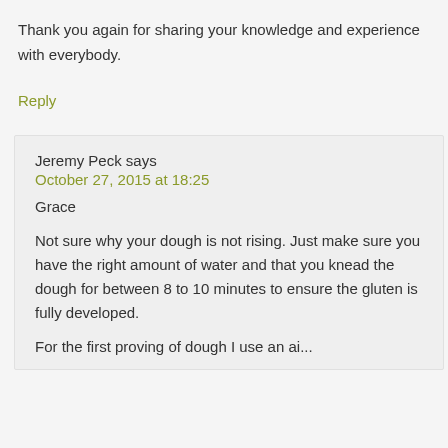Thank you again for sharing your knowledge and experience with everybody.
Reply
Jeremy Peck says
October 27, 2015 at 18:25
Grace
Not sure why your dough is not rising. Just make sure you have the right amount of water and that you knead the dough for between 8 to 10 minutes to ensure the gluten is fully developed.
For the first proving of dough I use an ai...